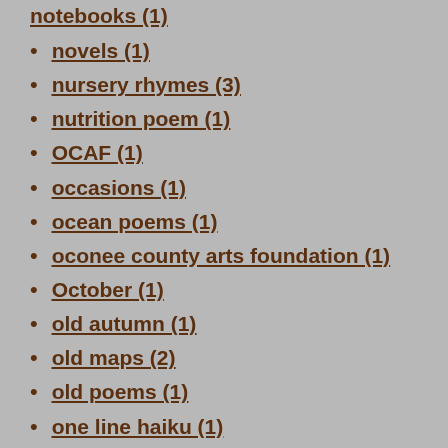notebooks (1)
novels (1)
nursery rhymes (3)
nutrition poem (1)
OCAF (1)
occasions (1)
ocean poems (1)
oconee county arts foundation (1)
October (1)
old autumn (1)
old maps (2)
old poems (1)
one line haiku (1)
original poems (2)
original work (2)
Oscar Wilde (1)